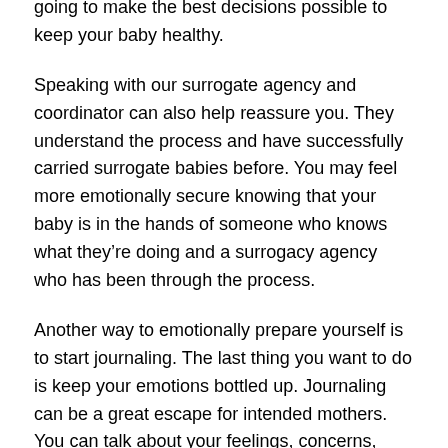going to make the best decisions possible to keep your baby healthy.
Speaking with our surrogate agency and coordinator can also help reassure you. They understand the process and have successfully carried surrogate babies before. You may feel more emotionally secure knowing that your baby is in the hands of someone who knows what they’re doing and a surrogacy agency who has been through the process.
Another way to emotionally prepare yourself is to start journaling. The last thing you want to do is keep your emotions bottled up. Journaling can be a great escape for intended mothers. You can talk about your feelings, concerns, fears as well as your joys, excitement, and memorable moments.
Speaking with Your Spouse